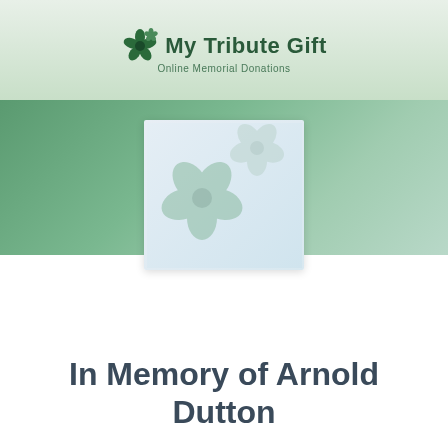[Figure (logo): My Tribute Gift logo with flower/shamrock icon and text 'My Tribute Gift — Online Memorial Donations']
[Figure (illustration): Decorative flower/shamrock card image on green gradient background]
In Memory of Arnold Dutton
Amount — Charity — Payment (step indicator, Amount is active)
Progress bar showing step 1 of 3 (Amount) active